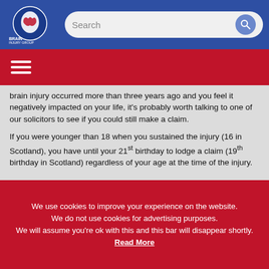Brain Injury Group — Search bar header
brain injury occurred more than three years ago and you feel it negatively impacted on your life, it's probably worth talking to one of our solicitors to see if you could still make a claim.
If you were younger than 18 when you sustained the injury (16 in Scotland), you have until your 21st birthday to lodge a claim (19th birthday in Scotland) regardless of your age at the time of the injury.
We use cookies to improve your experience on the website. We do not use cookies for advertising purposes. We will assume you're ok with this and this bar will disappear shortly. Read More